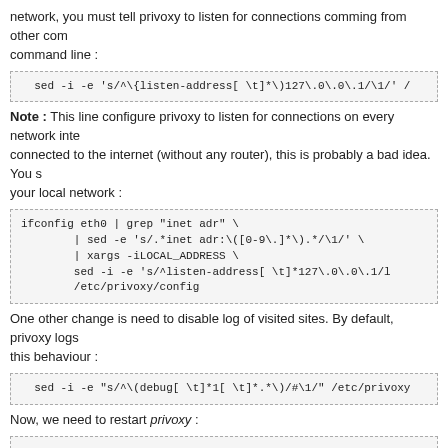network, you must tell privoxy to listen for connections comming from other computers on the network, you must tell privoxy on command line :
[Figure (other): Code block: sed -i -e 's/^\{listen-address[ \t]*\)127\.0\.0\.1/\1/' /]
Note : This line configure privoxy to listen for connections on every network interface. If your machine is connected to the internet (without any router), this is probably a bad idea. You should find the local IP address of your local network :
[Figure (other): Code block: ifconfig eth0 | grep "inet adr" \
        | sed -e 's/.*inet adr:\([0-9\.]*\).*/\1/' \
        | xargs -iLOCAL_ADDRESS \
        sed -i -e 's/^listen-address[ \t]*127\.0\.0\.1/LOCAL_ADDRESS/
        /etc/privoxy/config]
One other change is need to disable log of visited sites. By default, privoxy logs all visited sites. To disable this behaviour :
[Figure (other): Code block: sed -i -e "s/^\(debug[ \t]*1[ \t]*.*\)/#\1/" /etc/privoxy]
Now, we need to restart privoxy :
[Figure (other): Code block: /etc/init.d/privoxy restart]